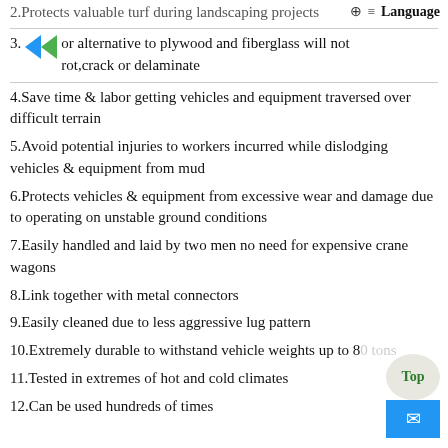2.Protects valuable turf during landscaping projects
3. or alternative to plywood and fiberglass will not rot,crack or delaminate
4.Save time & labor getting vehicles and equipment traversed over difficult terrain
5.Avoid potential injuries to workers incurred while dislodging vehicles & equipment from mud
6.Protects vehicles & equipment from excessive wear and damage due to operating on unstable ground conditions
7.Easily handled and laid by two men no need for expensive crane wagons
8.Link together with metal connectors
9.Easily cleaned due to less aggressive lug pattern
10.Extremely durable to withstand vehicle weights up to 80 tons
11.Tested in extremes of hot and cold climates
12.Can be used hundreds of times